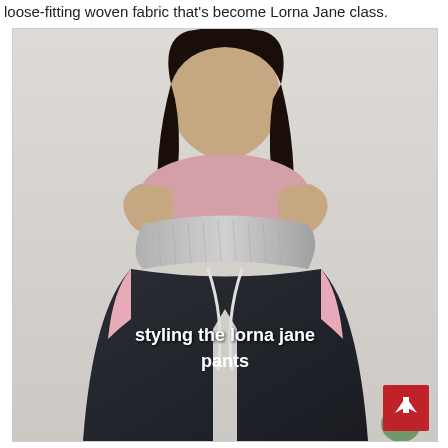loose-fitting woven fabric that's become Lorna Jane class.
[Figure (photo): A young woman with long dark hair holding up a pair of large dark navy/black wide-leg pants with a grey ribbed waistband and white drawstring, against a white wall background. Overlay text reads 'styling the lorna jane pants'.]
styling the lorna jane pants